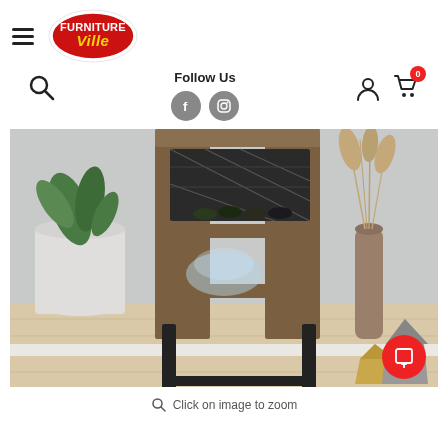[Figure (logo): Furniture Ville logo - red oval with white text 'FURNITURE Ville' in yellow and white lettering]
Follow Us
[Figure (other): Product photo of a wood and black metal wine rack/bar unit with wine bottles and a glass bowl, displayed in a styled room with plants and decorative vases on a light wood floor]
Click on image to zoom